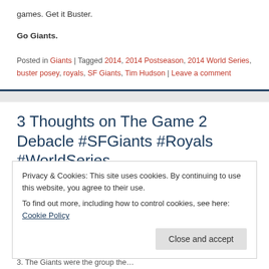games. Get it Buster.
Go Giants.
Posted in Giants | Tagged 2014, 2014 Postseason, 2014 World Series, buster posey, royals, SF Giants, Tim Hudson | Leave a comment
3 Thoughts on The Game 2 Debacle #SFGiants #Royals #WorldSeries
Posted on October 22, 2014
Privacy & Cookies: This site uses cookies. By continuing to use this website, you agree to their use.
To find out more, including how to control cookies, see here: Cookie Policy
3. The Giants were the group the…